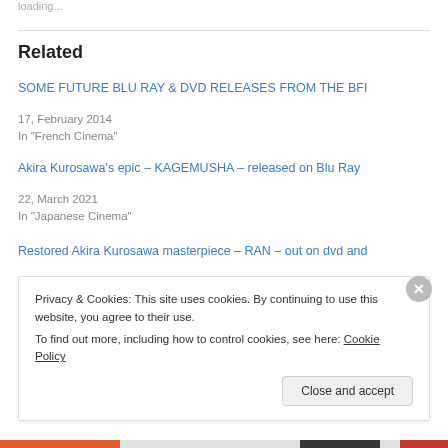loading...
Related
SOME FUTURE BLU RAY & DVD RELEASES FROM THE BFI
17, February 2014
In "French Cinema"
Akira Kurosawa's epic – KAGEMUSHA – released on Blu Ray
22, March 2021
In "Japanese Cinema"
Restored Akira Kurosawa masterpiece – RAN – out on dvd and
Privacy & Cookies: This site uses cookies. By continuing to use this website, you agree to their use.
To find out more, including how to control cookies, see here: Cookie Policy
Close and accept